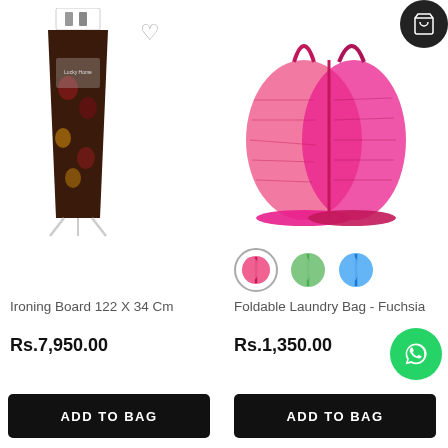[Figure (photo): Ironing board with floral dark cover, white metal legs, standing upright in product packaging]
[Figure (photo): Pink foldable mesh laundry bag/hamper with open top, pop-up style]
Ironing Board 122 X 34 Cm
Foldable Laundry Bag - Fuchsia
Rs.7,950.00
Rs.1,350.00
ADD TO BAG
ADD TO BAG